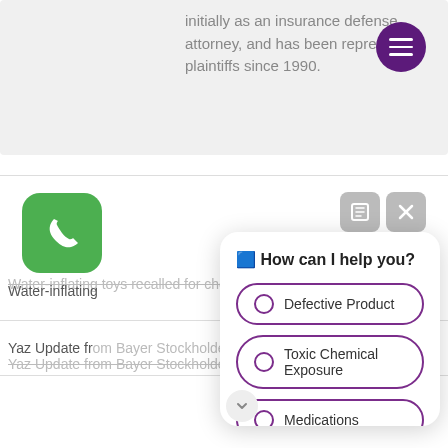initially as an insurance defense attorney, and has been representing plaintiffs since 1990.
[Figure (illustration): Green rounded square phone icon with white telephone handset symbol]
Water-inflating toys recalled for choking
Yaz Update from Bayer Stockholder's meeting
[Figure (screenshot): Chat widget popup with title 'How can I help you?' and three radio button options: Defective Product, Toxic Chemical Exposure, Medications]